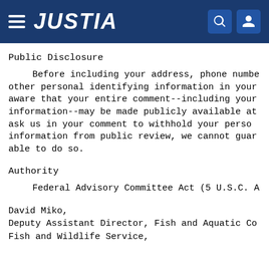JUSTIA
Public Disclosure
Before including your address, phone number, other personal identifying information in your comment, be aware that your entire comment--including your personal information--may be made publicly available at any time. If you ask us in your comment to withhold your personal information from public review, we cannot guarantee that we will be able to do so.
Authority
Federal Advisory Committee Act (5 U.S.C. A…
David Miko,
Deputy Assistant Director, Fish and Aquatic Conservation,
Fish and Wildlife Service,